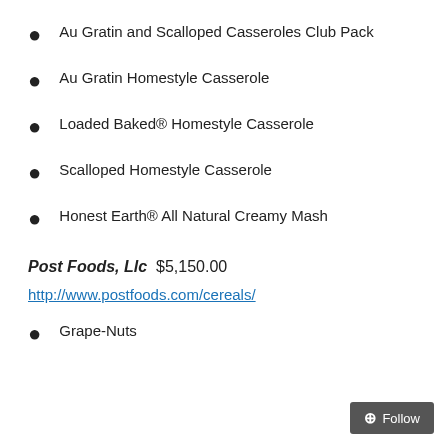Au Gratin and Scalloped Casseroles Club Pack
Au Gratin Homestyle Casserole
Loaded Baked® Homestyle Casserole
Scalloped Homestyle Casserole
Honest Earth® All Natural Creamy Mash
Post Foods, Llc  $5,150.00
http://www.postfoods.com/cereals/
Grape-Nuts